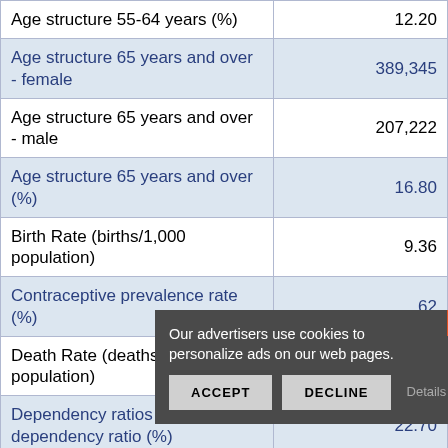| Indicator | Value |
| --- | --- |
| Age structure 55-64 years (%) | 12.20 |
| Age structure 65 years and over - female | 389,345 |
| Age structure 65 years and over - male | 207,222 |
| Age structure 65 years and over (%) | 16.80 |
| Birth Rate (births/1,000 population) | 9.36 |
| Contraceptive prevalence rate (%) | 62 |
| Death Rate (deaths/1,000 population) | 11.55 |
| Dependency ratios - elderly dependency ratio (%) | 22.70 |